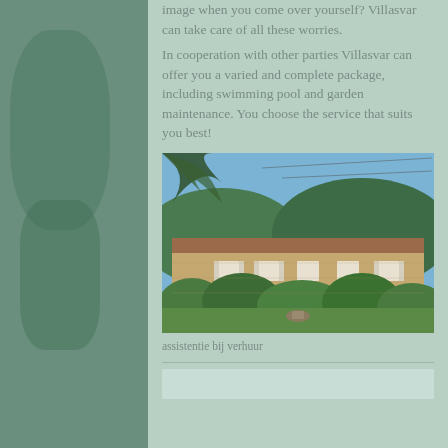image when you come over yourself? Villasvar can take care of all these worries. In cooperation with other parties Villasvar can offer you a varied and complete package, including swimming pool and garden maintenance. You choose the service that suits you best!
[Figure (photo): Exterior photo of a stone villa with lush garden, trees, blue sky and hills in background]
assistentie bij verhuur